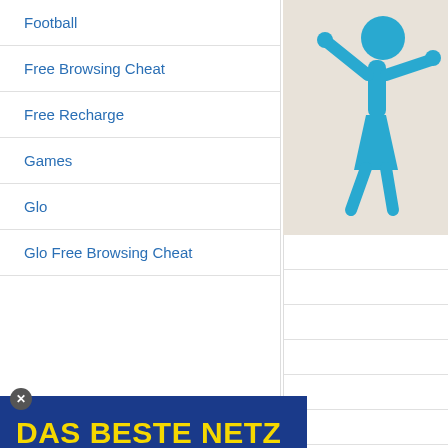Football
Free Browsing Cheat
Free Recharge
Games
Glo
Glo Free Browsing Cheat
[Figure (illustration): Cyan stick figure of a person on a beige/tan background]
[Figure (infographic): Dark blue advertisement banner reading DAS BESTE NETZ GIBT'S BEI 1&1 with yellow and white text, and the 1&1 logo in the bottom right corner]